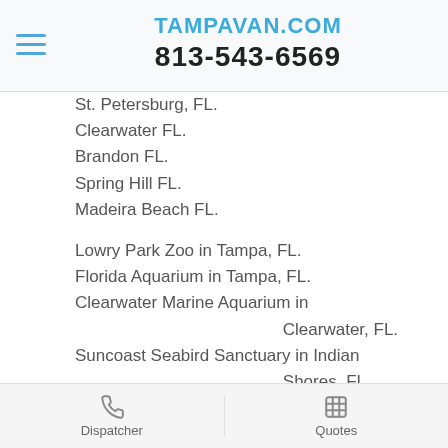TAMPAVAN.COM
813-543-6569
St. Petersburg, FL.
Clearwater FL.
Brandon FL.
Spring Hill FL.
Madeira Beach FL.
Lowry Park Zoo in Tampa, FL.
Florida Aquarium in Tampa, FL.
Clearwater Marine Aquarium in Clearwater, FL.
Suncoast Seabird Sanctuary in Indian Shores, FL.
Apollo Beach, FL.
Bayonet Point FL.
Bloomingdale FL.
Dispatcher    Quotes